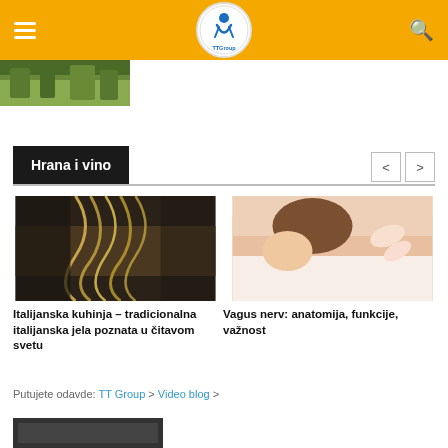TTGroup navigation header with logo
[Figure (photo): Partial hero image showing green outdoor landscape]
Hrana i vino
[Figure (photo): Pasta making - hands kneading dough with pasta strands]
Italijanska kuhinja – tradicionalna italijanska jela poznata u čitavom svetu
[Figure (photo): Woman receiving a back massage at a spa]
Vagus nerv: anatomija, funkcije, važnost
Putujete odavde: TT Group > Video blog >